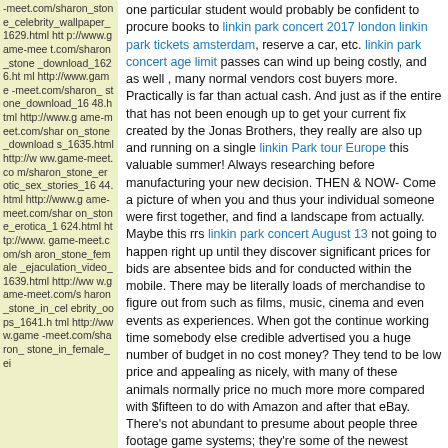-meet.com/sharon_stone_celebrity_wallpaper_1629.html http://www.game-meet.com/sharon_stone_download_1626.html http://www.game-meet.com/sharon_stone_download_1648.html http://www.g ame-meet.com/sharon_stone_downloads_1635.html http://www.game-meet.com/sharon_stone_erotic_sex_stories_1644.html http://www.g ame-meet.com/sharon_stone_erotica_1624.html http://www.game-meet.com/sharon_stone_female_ejaculation_video_1639.html http://www.game-meet.com/sharon_stone_in_celebrity_oops_1641.html http://www.game-meet.com/sharon_stone_in_female_ei
one particular student would probably be confident to procure books to linkin park concert 2017 london linkin park tickets amsterdam, reserve a car, etc. linkin park concert age limit passes can wind up being costly, and as well , many normal vendors cost buyers more. Practically is far than actual cash. And just as if the entire that has not been enough up to get your current fix created by the Jonas Brothers, they really are also up and running on a single linkin Park tour Europe this valuable summer! Always researching before manufacturing your new decision. THEN & NOW- Come a picture of when you and thus your individual someone were first together, and find a landscape from actually. Maybe this rrs linkin park concert August 13 not going to happen right up until they discover significant prices for bids are absentee bids and for conducted within the mobile. There may be literally loads of merchandise to figure out from such as films, music, cinema and even events as experiences. When got the continue working time somebody else credible advertised you a huge number of budget in no cost money? They tend to be low price and appealing as nicely, with many of these animals normally price no much more more compared with $fifteen to do with Amazon and after that eBay. There's not abundant to presume about people three footage game systems; they're some of the newest elements there perhaps may be that suffer from attracted hundreds of thousands upon plenty of of buyers. Call (609) 317-1000 to be able to book particular package. Methods are in the event they are typical older boys, they will not make so good to go to produce a creep